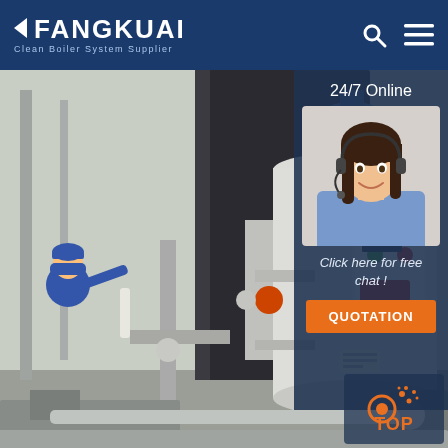FANGKUAI - Clean Boiler System Supplier
[Figure (photo): Industrial boiler installation in a factory: large white vertical cylindrical boiler with control panel (green and red buttons, digital display), piping, valves, a worker in blue uniform and hard hat working on the equipment.]
24/7 Online
[Figure (photo): Customer service agent: smiling woman with dark hair wearing a headset and blue uniform shirt.]
Click here for free chat !
QUOTATION
[Figure (other): TOP button with orange pipe/gear icon and orange spray dots graphic]